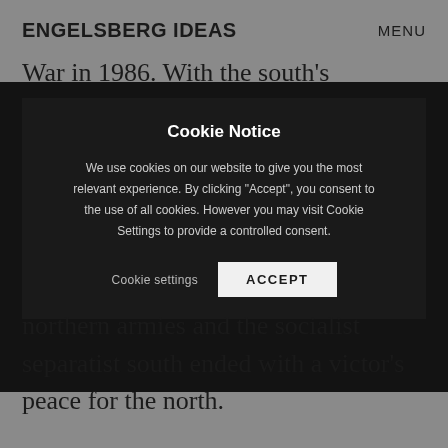ENGELSBERG IDEAS   MENU
War in 1986. With the south's economy in ruins
[Figure (screenshot): Cookie notice modal dialog with dark background overlay. Contains title 'Cookie Notice', body text about cookie consent, a 'Cookie settings' text link, and an 'ACCEPT' button.]
northern armies and the socialist separatist south ended with a victor's peace for the north.